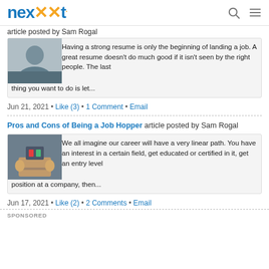nexxt
article posted by Sam Rogal
[Figure (photo): Man in suit sitting at desk]
Having a strong resume is only the beginning of landing a job. A great resume doesn't do much good if it isn't seen by the right people. The last thing you want to do is let...
Jun 21, 2021 • Like (3) • 1 Comment • Email
Pros and Cons of Being a Job Hopper article posted by Sam Rogal
[Figure (photo): Person holding a cardboard box with office supplies]
We all imagine our career will have a very linear path. You have an interest in a certain field, get educated or certified in it, get an entry level position at a company, then...
Jun 17, 2021 • Like (2) • 2 Comments • Email
SPONSORED